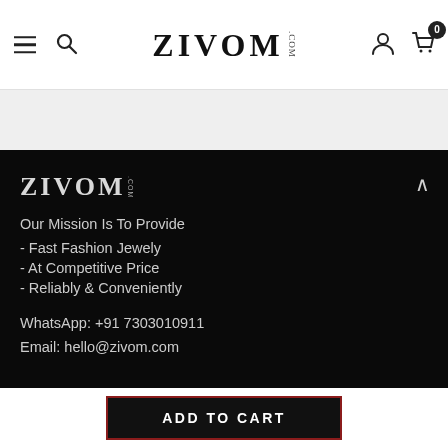ZIVOM .COM — navigation header with hamburger menu, search, user and cart icons
[Figure (logo): ZIVOM.COM logo in black serif font on white background in footer area]
Our Mission Is To Provide
- Fast Fashion Jewely
- At Competitive Price
- Reliably & Conveniently
WhatsApp: +91 7303010911
Email: hello@zivom.com
ADD TO CART